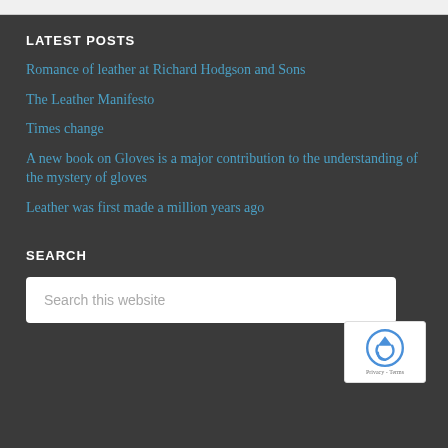LATEST POSTS
Romance of leather at Richard Hodgson and Sons
The Leather Manifesto
Times change
A new book on Gloves is a major contribution to the understanding of the mystery of gloves
Leather was first made a million years ago
SEARCH
Search this website